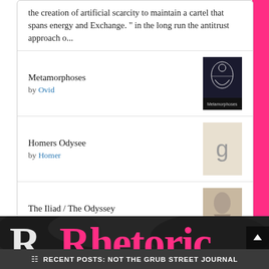the creation of artificial scarcity to maintain a cartel that spans energy and Exchange. " in the long run the antitrust approach o...
Metamorphoses by Ovid
[Figure (photo): Book cover for Metamorphoses by Ovid]
Homers Odysee by Homer
[Figure (photo): Placeholder book cover for Homers Odysee]
The Iliad / The Odyssey by Homer
[Figure (photo): Book cover for The Iliad / The Odyssey]
[Figure (logo): Goodreads logo button]
[Figure (photo): Rhetoric banner image with pink text on dark background]
RECENT POSTS: NOT THE GRUB STREET JOURNAL